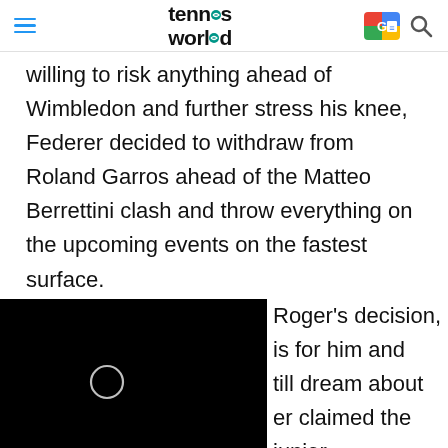tennis world
willing to risk anything ahead of Wimbledon and further stress his knee, Federer decided to withdraw from Roland Garros ahead of the Matteo Berrettini clash and throw everything on the upcoming events on the fastest surface.
[Figure (screenshot): Black video player overlay with a loading spinner circle in the center, and an X close button on the left side]
Roger's decision, is for him and till dream about er claimed the junior Wimbledon crown in 1998 and reached the quarter-final three years later after stunning the seven-time winner Pete Sampras in five thrilling